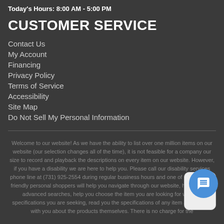Today's Hours: 8:00 AM - 5:00 PM
CUSTOMER SERVICE
Contact Us
My Account
Financing
Privacy Policy
Terms of Service
Accessibility
Site Map
Do Not Sell My Personal Information
Welcome to our website! As we have the ability to list over one million items on our website (our selection changes all of the time), it is not feasible for a company our size to record and playback the descriptions on every item on our website. However, if you have a disability we are here to help you. Please call our disability services phone line at (731) 925-2554 during regular business hours and one of our kind and friendly personal shoppers will help you navigate through our website, help conduct advanced searches, help you choose the item you are looking for with the specifications you are seeking, read you the specifications of any item and consult with you about the products themselves. There is no charge for the